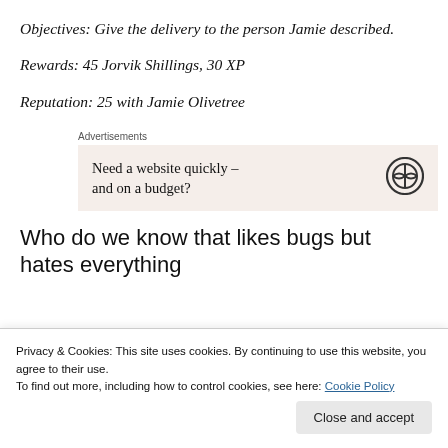Objectives: Give the delivery to the person Jamie described.
Rewards: 45 Jorvik Shillings, 30 XP
Reputation: 25 with Jamie Olivetree
[Figure (other): WordPress advertisement banner with text 'Need a website quickly – and on a budget?' and WordPress logo, on a beige background]
Who do we know that likes bugs but hates everything
Privacy & Cookies: This site uses cookies. By continuing to use this website, you agree to their use.
To find out more, including how to control cookies, see here: Cookie Policy